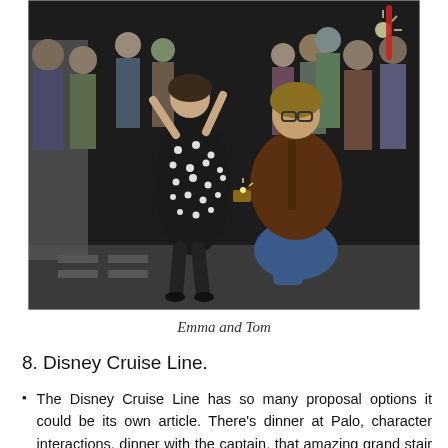[Figure (photo): A man kneeling on one knee proposing to a woman in a black polka-dot dress, surrounded by a crowd of onlookers, outdoors at night.]
Emma and Tom
8. Disney Cruise Line.
The Disney Cruise Line has so many proposal options it could be its own article. There's dinner at Palo, character interactions, dinner with the captain, that amazing grand stair case in the atrium, but my favorite is Disney's private island. You've had an amazing cruise vacation and are soaking up the sun at Castaway Cay, there is no better way